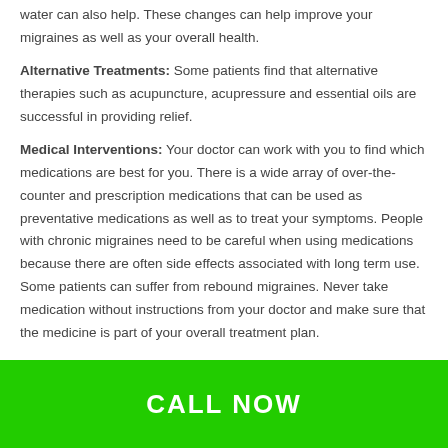water can also help. These changes can help improve your migraines as well as your overall health.
Alternative Treatments: Some patients find that alternative therapies such as acupuncture, acupressure and essential oils are successful in providing relief.
Medical Interventions: Your doctor can work with you to find which medications are best for you. There is a wide array of over-the-counter and prescription medications that can be used as preventative medications as well as to treat your symptoms. People with chronic migraines need to be careful when using medications because there are often side effects associated with long term use. Some patients can suffer from rebound migraines. Never take medication without instructions from your doctor and make sure that the medicine is part of your overall treatment plan.
CALL NOW